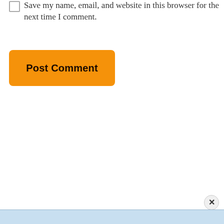Save my name, email, and website in this browser for the next time I comment.
[Figure (other): Orange 'Post Comment' button with rounded corners and bold dark text]